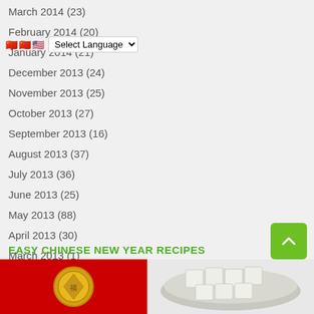March 2014 (23)
February 2014 (20)
January 2014 (...)
December 2013 (24)
November 2013 (25)
October 2013 (27)
September 2013 (16)
August 2013 (37)
July 2013 (36)
June 2013 (25)
May 2013 (88)
April 2013 (30)
March 2013 (1)
EASY CHINESE NEW YEAR RECIPES
[Figure (photo): Red background with gold coin emblem on left; white tofu cubes in a bowl on right]